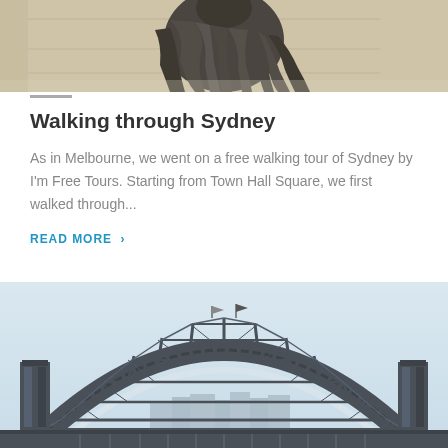[Figure (photo): Close-up of a dark bronze or stone statue of a draped figure, showing detail of the clothing folds and torso, against a building facade with columns.]
Walking through Sydney
As in Melbourne, we went on a free walking tour of Sydney by I'm Free Tours. Starting from Town Hall Square, we first walked through...
READ MORE ›
[Figure (photo): Sydney Harbour Bridge photographed from below against a pale blue sky, showing the steel arch structure and vertical suspenders with city buildings visible in the background.]